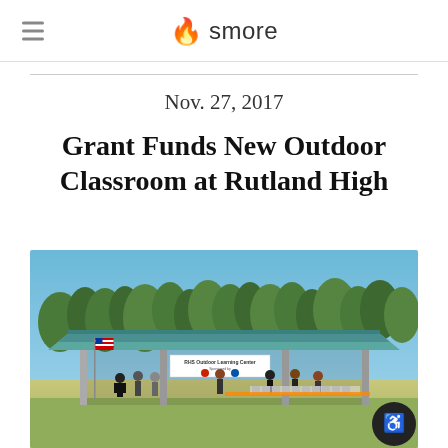smore
Nov. 27, 2017
Grant Funds New Outdoor Classroom at Rutland High
[Figure (photo): Outdoor classroom pavilion with a teal metal roof at Rutland High. People gathered underneath including students and adults. An American flag is visible on the left. A banner reads 'RHS Outdoor Learning Center'. Trees and blue sky visible in background.]